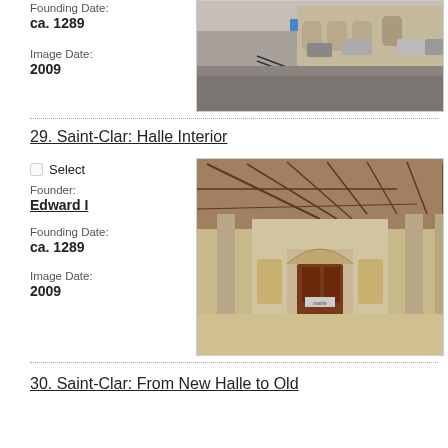Founding Date: ca. 1289
Image Date: 2009
[Figure (photo): Exterior view of Saint-Clar marketplace with arched stone buildings, parked cars, and cobblestone plaza]
29. Saint-Clar: Halle Interior
Select
Founder: Edward I
Founding Date: ca. 1289
Image Date: 2009
[Figure (photo): Interior of the Halle in Saint-Clar showing wooden timber roof structure, stone columns, and arched doorway in background]
30. Saint-Clar: From New Halle to Old